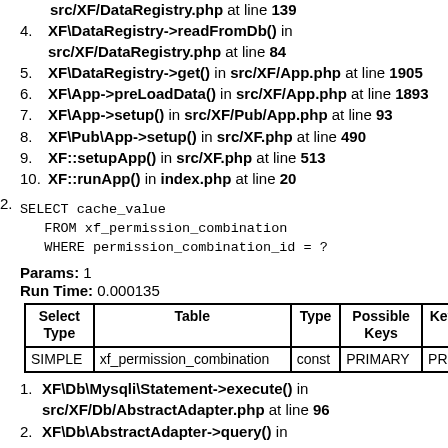4. XF\DataRegistry->readFromDb() in src/XF/DataRegistry.php at line 84
5. XF\DataRegistry->get() in src/XF/App.php at line 1905
6. XF\App->preLoadData() in src/XF/App.php at line 1893
7. XF\App->setup() in src/XF/Pub/App.php at line 93
8. XF\Pub\App->setup() in src/XF.php at line 490
9. XF::setupApp() in src/XF.php at line 513
10. XF::runApp() in index.php at line 20
2. SELECT cache_value
   FROM xf_permission_combination
   WHERE permission_combination_id = ?
Params: 1
Run Time: 0.000135
| Select Type | Table | Type | Possible Keys | Key |
| --- | --- | --- | --- | --- |
| SIMPLE | xf_permission_combination | const | PRIMARY | PRI |
1. XF\Db\Mysqli\Statement->execute() in src/XF/Db/AbstractAdapter.php at line 96
2. XF\Db\AbstractAdapter->query() in